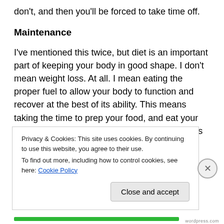don't, and then you'll be forced to take time off.
Maintenance
I've mentioned this twice, but diet is an important part of keeping your body in good shape. I don't mean weight loss. At all. I mean eating the proper fuel to allow your body to function and recover at the best of its ability. This means taking the time to prep your food, and eat your food, and not rush around all the time. It means reminding yourself to keep hydrated. It's time, and it's money, but it's necessary to remain in your best physical condition.
Privacy & Cookies: This site uses cookies. By continuing to use this website, you agree to their use.
To find out more, including how to control cookies, see here: Cookie Policy
Close and accept